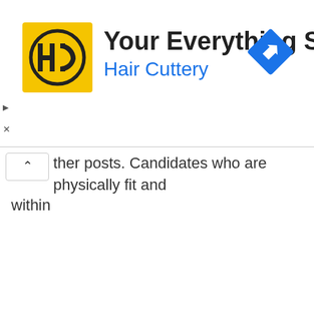[Figure (logo): Hair Cuttery advertisement banner with HC logo (yellow background, black HC letters), title 'Your Everything Salon', subtitle 'Hair Cuttery' in blue, and a blue navigation/directions diamond icon on the right]
ther posts. Candidates who are physically fit and within